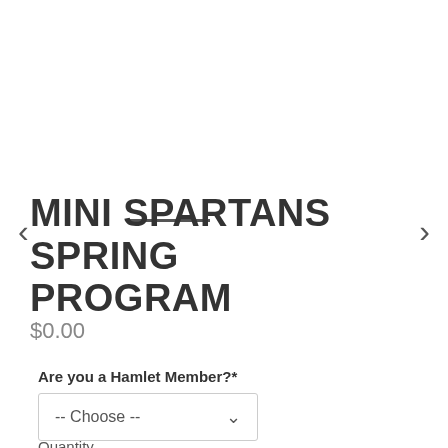[Figure (other): Image carousel navigation with left arrow, right arrow, and a horizontal dash/line indicator]
MINI SPARTANS SPRING PROGRAM
$0.00
Are you a Hamlet Member?*
-- Choose --
Quantity